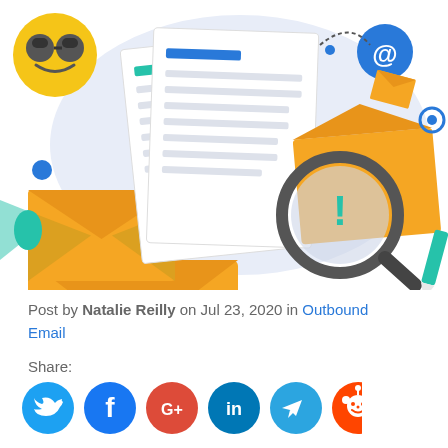[Figure (illustration): Colorful illustration showing email envelopes, documents with lines, a magnifying glass with an exclamation mark, an @ symbol, emoji faces (sunglasses and dizzy), blue dots, stars, and decorative elements on a light blue oval background.]
Post by Natalie Reilly on Jul 23, 2020 in Outbound Email
Share:
[Figure (illustration): Row of social media sharing icons: Twitter (blue bird), Facebook (blue f), Google+ (red G+), LinkedIn (teal in), Telegram (teal paper plane), Reddit (orange alien).]